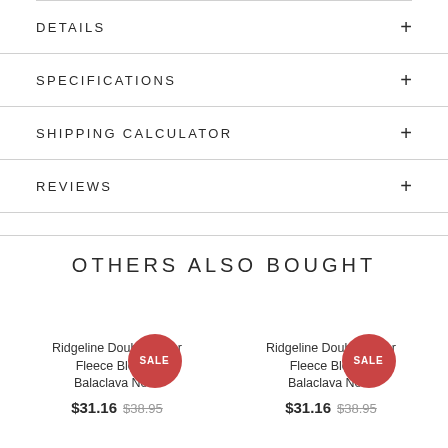DETAILS
SPECIFICATIONS
SHIPPING CALCULATOR
REVIEWS
OTHERS ALSO BOUGHT
Ridgeline Double Layer Fleece Beanie Balaclava Neck
$31.16  $38.95
Ridgeline Double Layer Fleece Beanie Balaclava Neck
$31.16  $38.95